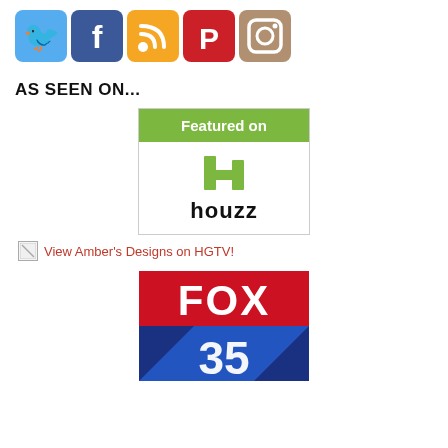[Figure (logo): Row of social media icons: Twitter (blue bird), Facebook (blue f), RSS (orange), Pinterest (red P), Instagram (tan camera)]
AS SEEN ON...
[Figure (logo): Houzz 'Featured on' badge with green header and houzz h logo]
View Amber's Designs on HGTV!
[Figure (logo): FOX 35 logo with red top section showing FOX and blue bottom section showing 35]